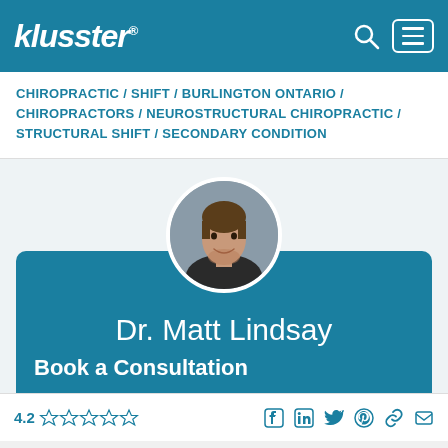klusster®
CHIROPRACTIC / SHIFT / BURLINGTON ONTARIO / CHIROPRACTORS / NEUROSTRUCTURAL CHIROPRACTIC / STRUCTURAL SHIFT / SECONDARY CONDITION
[Figure (photo): Circular profile photo of Dr. Matt Lindsay, a man with short brown hair and a light beard, smiling, wearing a dark shirt]
Dr. Matt Lindsay
Book a Consultation
4.2 stars (5 star rating display) | Social icons: Facebook, LinkedIn, Twitter, Pinterest, Link, Mail